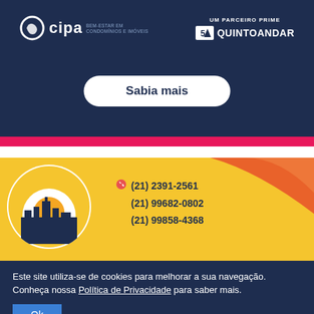[Figure (infographic): CIPA logo banner with navy background, UM PARCEIRO PRIME / QUINTOANDAR branding, and 'Sabia mais' button. Pink bar below.]
[Figure (infographic): Yellow advertisement banner with city silhouette circle graphic and contact phone numbers: (21) 2391-2561, (21) 99682-0802, (21) 99858-4368]
Este site utiliza-se de cookies para melhorar a sua navegação. Conheça nossa Política de Privacidade para saber mais.
Ok